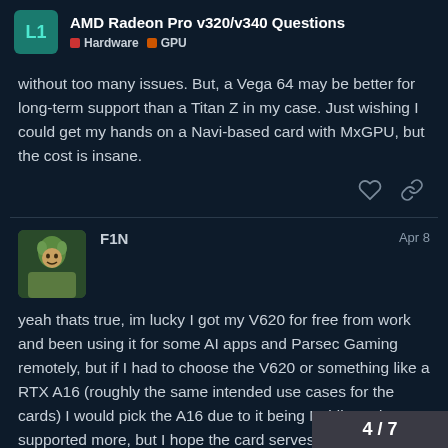AMD Radeon Pro v320/v340 Questions | Hardware | GPU
without too many issues. But, a Vega 64 may be better for long-term support than a Titan Z in my case. Just wishing I could get my hands on a Navi-based card with MxGPU, but the cost is insane.
F1N — Apr 8
yeah thats true, im lucky I got my V620 for free from work and been using it for some AI apps and Parsec Gaming remotely, but if I had to choose the V620 or something like a RTX A16 (roughly the same intended use cases for the cards) I would pick the A16 due to it being Nvidia and supported more, but I hope the card serves you well and keeps you happy!
4 / 7